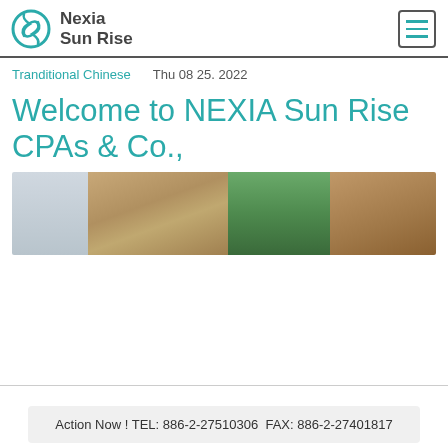Nexia Sun Rise
Tranditional Chinese   Thu 08 25. 2022
Welcome to NEXIA Sun Rise CPAs & Co.,
[Figure (photo): Exterior photo of a building with palm trees and brick facade]
Action Now ! TEL: 886-2-27510306  FAX: 886-2-27401817